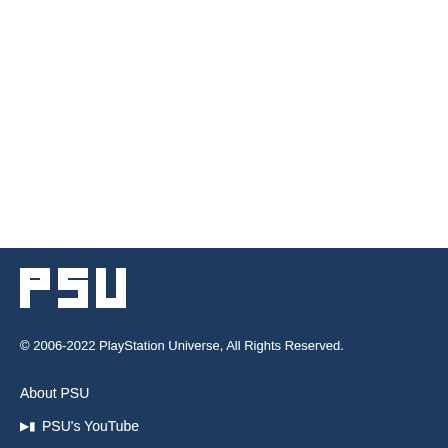[Figure (logo): PSU logo in white text on dark blue background]
© 2006-2022 PlayStation Universe, All Rights Reserved.
About PSU
PSU's YouTube